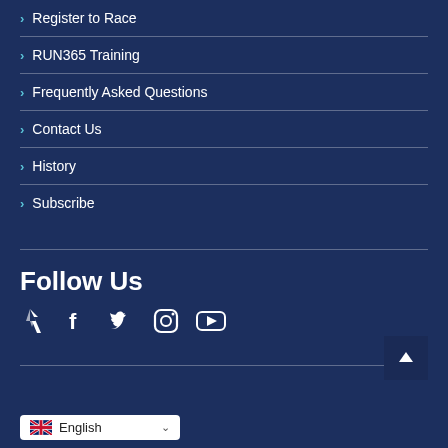Register to Race
RUN365 Training
Frequently Asked Questions
Contact Us
History
Subscribe
Follow Us
[Figure (infographic): Social media icons: Strava, Facebook, Twitter, Instagram, YouTube]
English
English language selector with UK flag